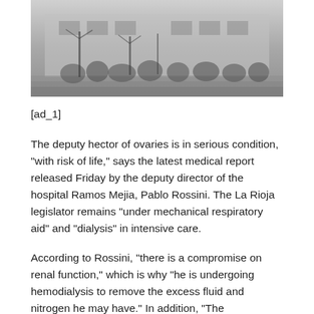[Figure (photo): Black and white photograph of a group of people standing on steps outside a building, with bare trees visible in the foreground.]
[ad_1]
The deputy hector of ovaries is in serious condition, "with risk of life," says the latest medical report released Friday by the deputy director of the hospital Ramos Mejia, Pablo Rossini. The La Rioja legislator remains "under mechanical respiratory aid" and "dialysis" in intensive care.
According to Rossini, "there is a compromise on renal function," which is why "he is undergoing hemodialysis to remove the excess fluid and nitrogen he may have." In addition, "The Prospective Moments of Future Surgery" are taught once the Radical Deputy has stabilized.
Ovars are rushed to the Romos Medjia after being shot yesterday meters from the National Congress. In the attack, his associate Miguel Alf...